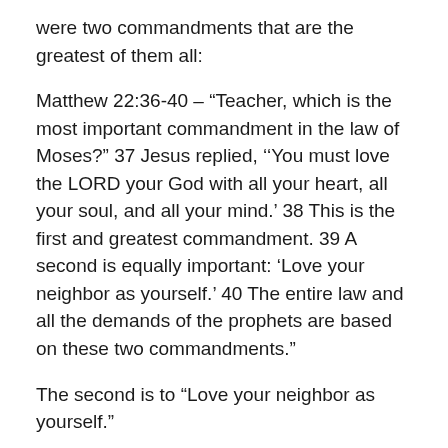were two commandments that are the greatest of them all:
Matthew 22:36-40 – “Teacher, which is the most important commandment in the law of Moses?” 37 Jesus replied, ‘‘You must love the LORD your God with all your heart, all your soul, and all your mind.’ 38 This is the first and greatest commandment. 39 A second is equally important: ‘Love your neighbor as yourself.’ 40 The entire law and all the demands of the prophets are based on these two commandments.”
The second is to “Love your neighbor as yourself.”
Would you ridicule yourself? Would you scoff at yourself? Would you seek to make a mockery of your own life? Would you have contempt for yourself?
Proverbs says this: